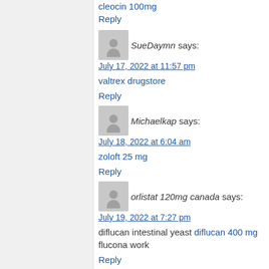cleocin 100mg
Reply
SueDaymn says:
July 17, 2022 at 11:57 pm
valtrex drugstore
Reply
Michaelkap says:
July 18, 2022 at 6:04 am
zoloft 25 mg
Reply
orlistat 120mg canada says:
July 19, 2022 at 7:27 pm
diflucan intestinal yeast diflucan 400 mg flucona work
Reply